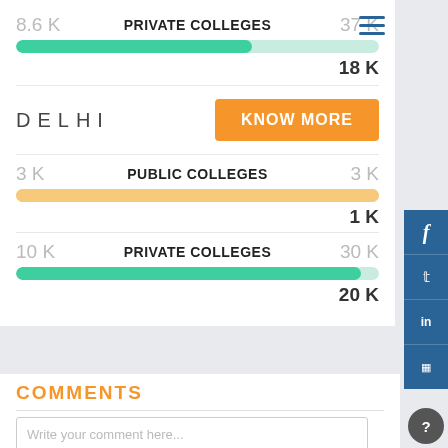[Figure (infographic): College data infographic showing Private Colleges with 8.6K left and 37K right, green bar showing ~65% fill, total 18K. Delhi city label with KNOW MORE button. Public Colleges 3K and 3K, orange bar full width, total 1K. Private Colleges 10K and 30K, green bar ~95% fill, total 20K.]
DELHI
KNOW MORE
COMMENTS
Write your comment here...